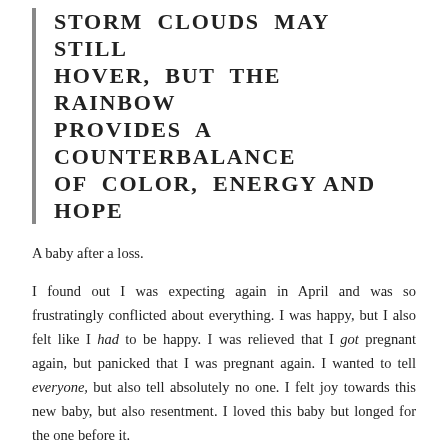STORM CLOUDS MAY STILL HOVER, BUT THE RAINBOW PROVIDES A COUNTERBALANCE OF COLOR, ENERGY AND HOPE
A baby after a loss.
I found out I was expecting again in April and was so frustratingly conflicted about everything. I was happy, but I also felt like I had to be happy. I was relieved that I got pregnant again, but panicked that I was pregnant again. I wanted to tell everyone, but also tell absolutely no one. I felt joy towards this new baby, but also resentment. I loved this baby but longed for the one before it.
It's a strange process to try and flick the lightswitch of grief "off" and to flick the one for "abounding happiness" on. The mind just isn't that simple and no matter how